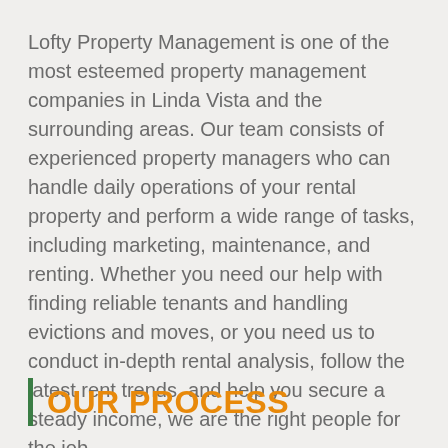Lofty Property Management is one of the most esteemed property management companies in Linda Vista and the surrounding areas. Our team consists of experienced property managers who can handle daily operations of your rental property and perform a wide range of tasks, including marketing, maintenance, and renting. Whether you need our help with finding reliable tenants and handling evictions and moves, or you need us to conduct in-depth rental analysis, follow the latest rent trends, and help you secure a steady income, we are the right people for the job.
OUR PROCESS